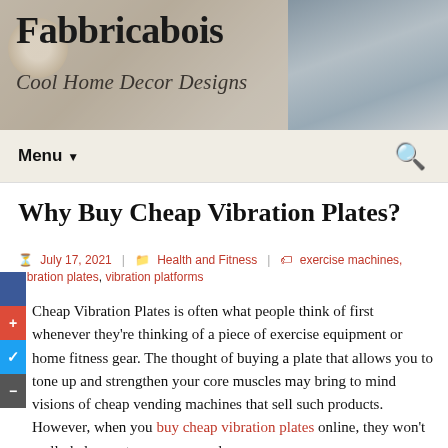Fabbricabois
Cool Home Decor Designs
Why Buy Cheap Vibration Plates?
July 17, 2021   Health and Fitness   exercise machines, vibration plates, vibration platforms
Cheap Vibration Plates is often what people think of first whenever they're thinking of a piece of exercise equipment or home fitness gear. The thought of buying a plate that allows you to tone up and strengthen your core muscles may bring to mind visions of cheap vending machines that sell such products. However, when you buy cheap vibration plates online, they won't really help you tone your muscles and the right tone and core are guaranteed when...